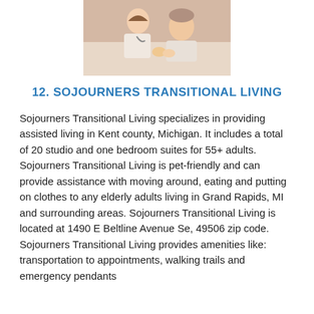[Figure (photo): Photo of two people, likely a caregiver and an elderly person, in a care setting.]
12. SOJOURNERS TRANSITIONAL LIVING
Sojourners Transitional Living specializes in providing assisted living in Kent county, Michigan. It includes a total of 20 studio and one bedroom suites for 55+ adults. Sojourners Transitional Living is pet-friendly and can provide assistance with moving around, eating and putting on clothes to any elderly adults living in Grand Rapids, MI and surrounding areas. Sojourners Transitional Living is located at 1490 E Beltline Avenue Se, 49506 zip code. Sojourners Transitional Living provides amenities like: transportation to appointments, walking trails and emergency pendants